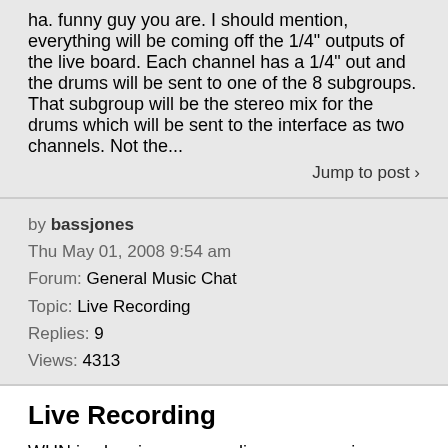ha. funny guy you are. I should mention, everything will be coming off the 1/4" outputs of the live board. Each channel has a 1/4" out and the drums will be sent to one of the 8 subgroups. That subgroup will be the stereo mix for the drums which will be sent to the interface as two channels. Not the...
Jump to post ›
by bassjones
Thu May 01, 2008 9:54 am
Forum: General Music Chat
Topic: Live Recording
Replies: 9
Views: 4313
Live Recording
WHN is planning on recording an upcoming show. Just curious as to the methods most people have had good results with. I've got 8 inputs on my interface, so am probably going to submix drums to two tracks, then bass, guitar, sax and vox on their own tracks with two live room mics. We can overdub